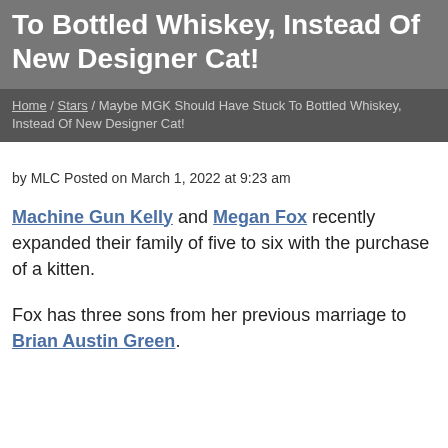To Bottled Whiskey, Instead Of New Designer Cat!
Home / Stars / Maybe MGK Should Have Stuck To Bottled Whiskey, Instead Of New Designer Cat!
by MLC Posted on March 1, 2022 at 9:23 am
Machine Gun Kelly and Megan Fox recently expanded their family of five to six with the purchase of a kitten.
Fox has three sons from her previous marriage to Brian Austin Green.